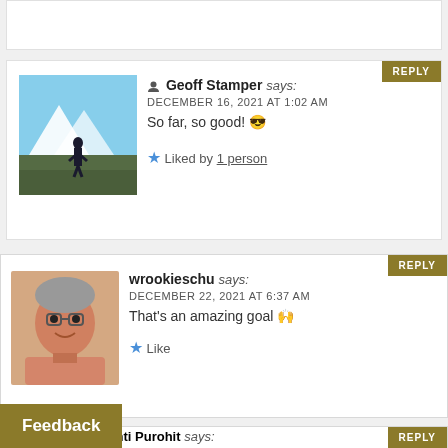[top partial comment box]
Geoff Stamper says: DECEMBER 16, 2021 AT 1:02 AM
So far, so good! 😎
★ Liked by 1 person
REPLY
wrookieschu says: DECEMBER 22, 2021 AT 6:37 AM
That's an amazing goal 🙌
★ Like
REPLY
Feedback
Srishti Purohit says:
REPLY